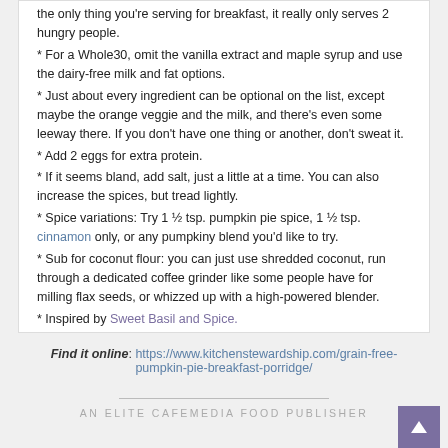* the only thing you're serving for breakfast, it really only serves 2 hungry people.
* For a Whole30, omit the vanilla extract and maple syrup and use the dairy-free milk and fat options.
* Just about every ingredient can be optional on the list, except maybe the orange veggie and the milk, and there’s even some leeway there. If you don’t have one thing or another, don’t sweat it.
* Add 2 eggs for extra protein.
* If it seems bland, add salt, just a little at a time. You can also increase the spices, but tread lightly.
* Spice variations: Try 1 ½ tsp. pumpkin pie spice, 1 ½ tsp. cinnamon only, or any pumpkiny blend you’d like to try.
* Sub for coconut flour: you can just use shredded coconut, run through a dedicated coffee grinder like some people have for milling flax seeds, or whizzed up with a high-powered blender.
* Inspired by Sweet Basil and Spice.
Find it online: https://www.kitchenstewardship.com/grain-free-pumpkin-pie-breakfast-porridge/
AN ELITE CAFEMEDIA FOOD PUBLISHER